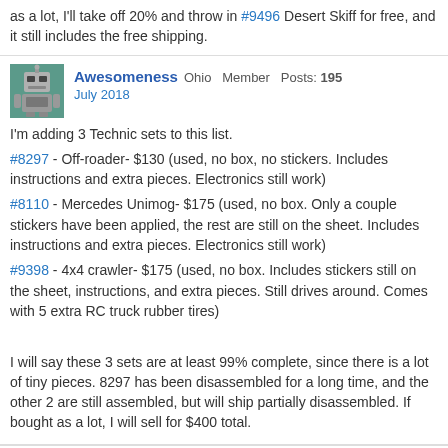as a lot, I'll take off 20% and throw in #9496 Desert Skiff for free, and it still includes the free shipping.
Awesomeness Ohio Member Posts: 195
July 2018
I'm adding 3 Technic sets to this list.
#8297 - Off-roader- $130 (used, no box, no stickers. Includes instructions and extra pieces. Electronics still work)
#8110 - Mercedes Unimog- $175 (used, no box. Only a couple stickers have been applied, the rest are still on the sheet. Includes instructions and extra pieces. Electronics still work)
#9398 - 4x4 crawler- $175 (used, no box. Includes stickers still on the sheet, instructions, and extra pieces. Still drives around. Comes with 5 extra RC truck rubber tires)
I will say these 3 sets are at least 99% complete, since there is a lot of tiny pieces. 8297 has been disassembled for a long time, and the other 2 are still assembled, but will ship partially disassembled. If bought as a lot, I will sell for $400 total.
Awesomeness Ohio Member Posts: 195